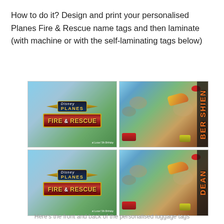How to do it?  Design and print your personalised Planes Fire & Rescue name tags and then laminate (with machine or with the self-laminating tags below)
[Figure (illustration): Four personalised Planes Fire & Rescue luggage name tags arranged in a 2x2 grid. Left column shows the front of tags featuring Disney Planes Fire & Rescue movie logo over a sky/grass background with text 'at Lucas' 5th Birthday'. Right column shows the back of tags featuring an action scene from the movie with characters, and vertical name text on the right side reading 'BER SHIEN' (top) and 'DEAN' (bottom).]
Here's the front and back of the personalised luggage tags